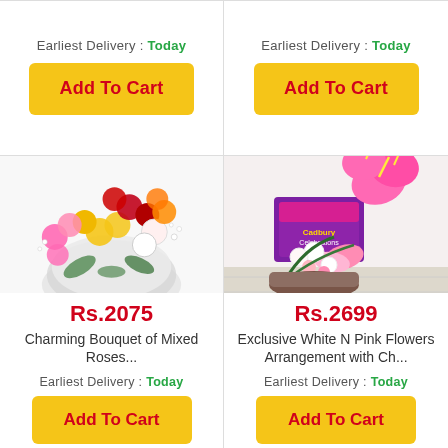Earliest Delivery : Today
Add To Cart
Earliest Delivery : Today
Add To Cart
[Figure (photo): Charming bouquet of mixed roses in pink, red, yellow, white, and orange wrapped in white mesh netting]
Rs.2075
Charming Bouquet of Mixed Roses...
Earliest Delivery : Today
Add To Cart
[Figure (photo): Exclusive white and pink flowers arrangement with Cadbury Celebrations chocolate box]
Rs.2699
Exclusive White N Pink Flowers Arrangement with Ch...
Earliest Delivery : Today
Add To Cart